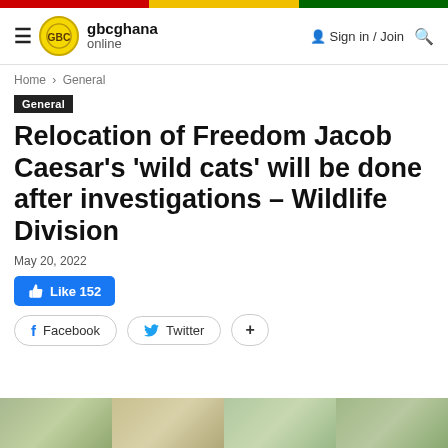gbcghana online — Sign in / Join
Home › General
General
Relocation of Freedom Jacob Caesar's 'wild cats' will be done after investigations – Wildlife Division
May 20, 2022
Like 152
Facebook   Twitter   +